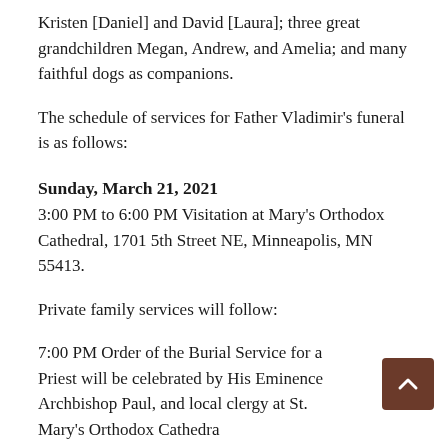Kristen [Daniel] and David [Laura]; three great grandchildren Megan, Andrew, and Amelia; and many faithful dogs as companions.
The schedule of services for Father Vladimir's funeral is as follows:
Sunday, March 21, 2021
3:00 PM to 6:00 PM Visitation at Mary's Orthodox Cathedral, 1701 5th Street NE, Minneapolis, MN 55413.
Private family services will follow:
7:00 PM Order of the Burial Service for a Priest will be celebrated by His Eminence Archbishop Paul, and local clergy at St. Mary's Orthodox Cathedra
Monday, March 22, 2021